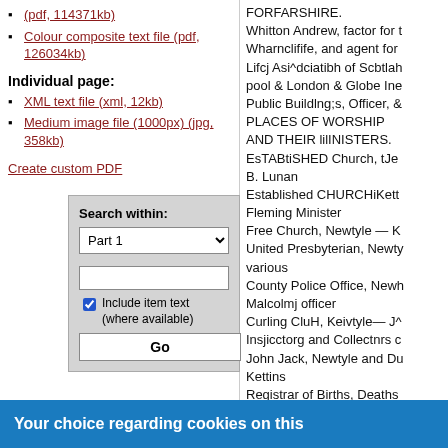(pdf, 114371kb)
Colour composite text file (pdf, 126034kb)
Individual page:
XML text file (xml, 12kb)
Medium image file (1000px) (jpg, 358kb)
Create custom PDF
[Figure (screenshot): Search within form with dropdown set to 'Part 1', a text input, a checked checkbox labelled 'Include item text (where available)', and a Go button]
FORFARSHIRE.
Whitton Andrew, factor for Wharnclifife, and agent for Lifcj Asi^dciatibh of Scbtlah pool & London & Globe Ine Public Buildlng;s, Officer, &
PLACES OF WORSHIP AND THEIR lilINISTERS.
EsTABtiSHED Church, tJe B. Lunan
Established CHURCHiKett Fleming Minister
Free Church, Newtyle — K United Presbyterian, Newt various
County Police Office, Newh Malcolmj officer
Curling CluH, Keivtyle— J^ Insjicctorg and Collectnrs c John Jack, Newtyle and Du Kettins
Registrar of Births, Deaths —James Wilson, for Newty M'Queen, for Kettins
CONVEYANCE BY RiilWA StatioTit NEWTTI.E Village station master
AiiCAii
Your choice regarding cookies on this